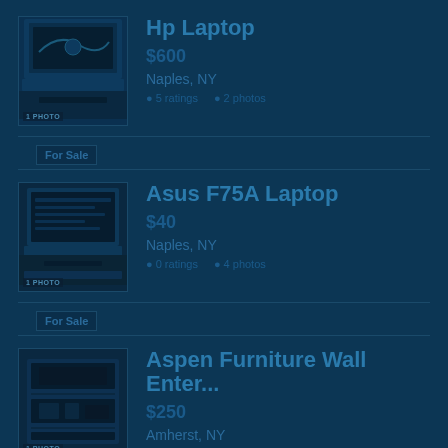[Figure (photo): Thumbnail image of HP Laptop for sale listing]
Hp Laptop
$600
Naples, NY
• 5 ratings  • 2 photos
For Sale
[Figure (photo): Thumbnail image of Asus F75A Laptop for sale listing]
Asus F75A Laptop
$40
Naples, NY
• 0 ratings  • 4 photos
For Sale
[Figure (photo): Thumbnail image of Aspen Furniture Wall Entertainment unit for sale listing]
Aspen Furniture Wall Enter...
$250
Amherst, NY
• 3 ratings  • 5 photos